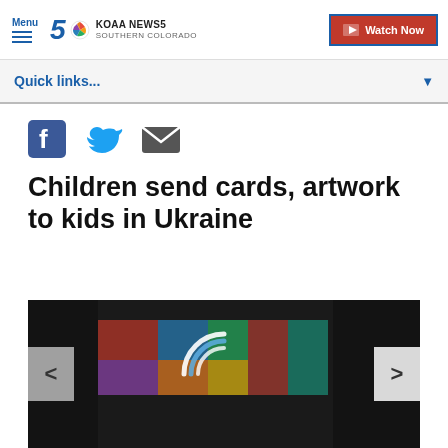Menu | KOAA NEWS5 SOUTHERN COLORADO | Watch Now
Quick links...
[Figure (other): Social media icons: Facebook, Twitter, Email]
Children send cards, artwork to kids in Ukraine
[Figure (photo): Dark image of a child working on colorful artwork with a circular loading/animation overlay and left/right navigation arrows]